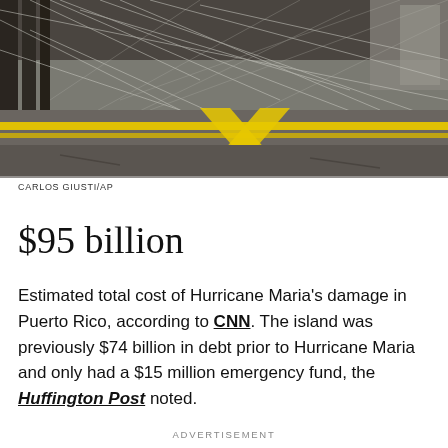[Figure (photo): Photograph showing wire fencing or netting with yellow caution tape stretched across a damaged or debris-filled area, likely post-hurricane damage in Puerto Rico]
CARLOS GIUSTI/AP
$95 billion
Estimated total cost of Hurricane Maria's damage in Puerto Rico, according to CNN. The island was previously $74 billion in debt prior to Hurricane Maria and only had a $15 million emergency fund, the Huffington Post noted.
ADVERTISEMENT